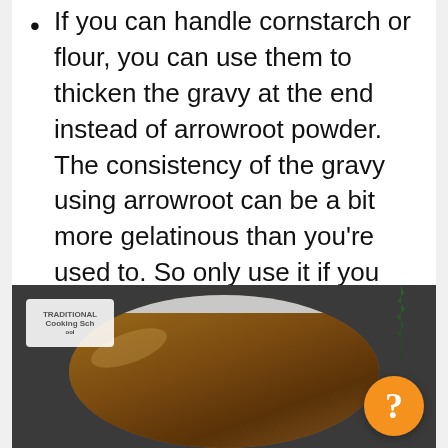If you can handle cornstarch or flour, you can use them to thicken the gravy at the end instead of arrowroot powder. The consistency of the gravy using arrowroot can be a bit more gelatinous than you're used to. So only use it if you need to for dietary reasons.
The quick release valve is your friend! Don't be intimidated by the steam that will pour out. Just use a towel or a pot holder over the nozzle.
Can sub any root vegetables for the potatoes (or in addition to the potatoes).
[Figure (photo): Photo of an Instant Pot inner pot filled with brown gravy/broth, with rosemary visible in the background and a Traditional Cooking School watermark in the top left. An orange help button with a question mark is overlaid in the bottom right.]